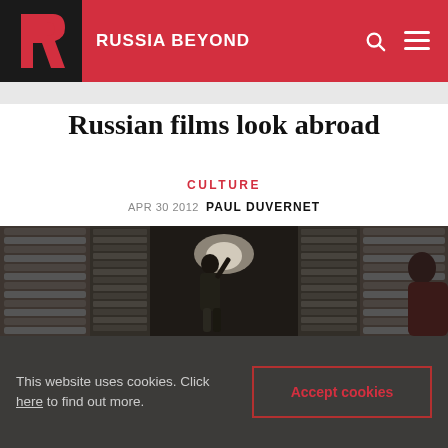RUSSIA BEYOND
Russian films look abroad
CULTURE
APR 30 2012  PAUL DUVERNET
[Figure (photo): A person standing in a narrow corridor flanked floor-to-ceiling with stacked film reels/canisters in a film archive storage room.]
This website uses cookies. Click here to find out more.
Accept cookies